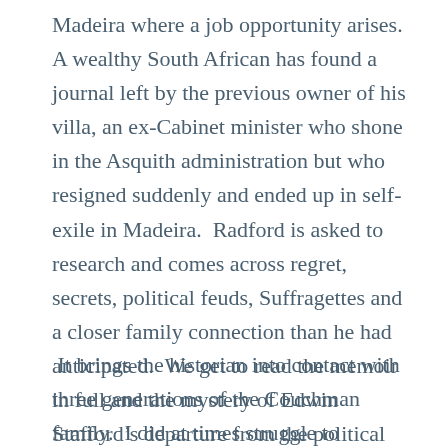Madeira where a job opportunity arises.  A wealthy South African has found a journal left by the previous owner of his villa, an ex-Cabinet minister who shone in the Asquith administration but who resigned suddenly and ended up in self-exile in Madeira.  Radford is asked to research and comes across regret, secrets, political feuds, Suffragettes and a closer family connection than he had anticipated.  We get to read the memoir in full and the mystery of Edwin Stafford's departure from the political scene drives Radford to ever desperate measures.
It brings the historian into contact with three generations of the Couchman family.  I did at times struggle to distinguish between them which might